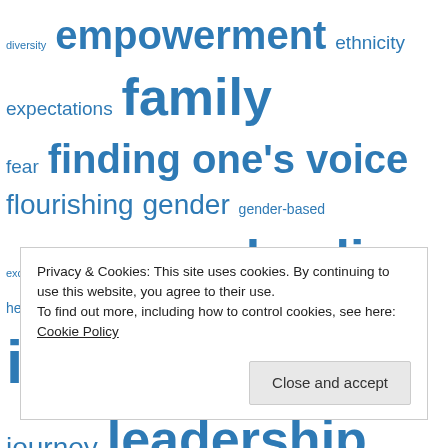[Figure (infographic): Word cloud with blue-colored terms related to women's spirituality and life topics. Terms vary in size indicating relative frequency/importance. Words include: diversity, empowerment, ethnicity, expectations, family, fear, finding one's voice, flourishing, gender, gender-based, exclusion, grace, gratitude, healing, health, honoring the past, hope, identity, insecurities, journey, leadership, letting go of control, loneliness, marginalization, marriage, mentorship, minority, missions, motherhood, multiculturalism, ordination, parenthood, parenting, parents, pastoral ministry]
Privacy & Cookies: This site uses cookies. By continuing to use this website, you agree to their use.
To find out more, including how to control cookies, see here: Cookie Policy